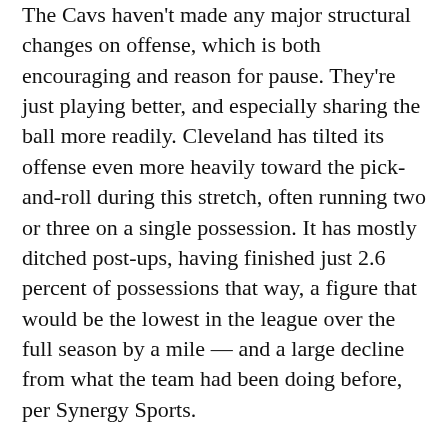The Cavs haven't made any major structural changes on offense, which is both encouraging and reason for pause. They're just playing better, and especially sharing the ball more readily. Cleveland has tilted its offense even more heavily toward the pick-and-roll during this stretch, often running two or three on a single possession. It has mostly ditched post-ups, having finished just 2.6 percent of possessions that way, a figure that would be the lowest in the league over the full season by a mile — and a large decline from what the team had been doing before, per Synergy Sports.
Only Dallas has finished a larger share of possessions with a pick-and-roll ball handler shooting or turning the ball over, per Synergy. So not much has changed in that regard of late. Cleveland has redistributed a few more shots to its screen-setters rolling to the hoop or popping out for jumpers, but